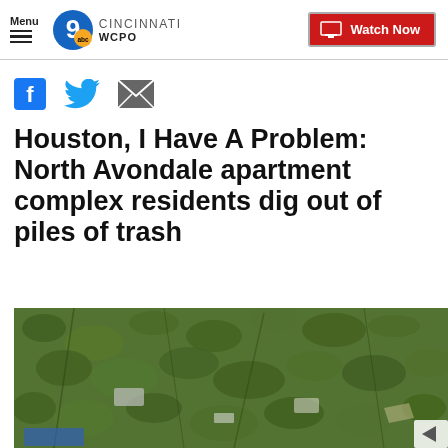Menu | WCPO 9 ABC CINCINNATI | Watch Now
[Figure (infographic): Social sharing icons: Facebook (f), Twitter (bird), Email (envelope)]
Houston, I Have A Problem: North Avondale apartment complex residents dig out of piles of trash
[Figure (photo): Outdoor photo of a dense patch of green leafy weeds and vines with scattered trash and debris visible among the vegetation]